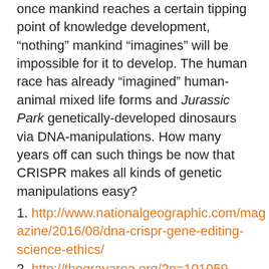here we come. Genesis 11:6 asserts that once mankind reaches a certain tipping point of knowledge development, “nothing” mankind “imagines” will be impossible for it to develop. The human race has already “imagined” human-animal mixed life forms and Jurassic Park genetically-developed dinosaurs via DNA-manipulations. How many years off can such things be now that CRISPR makes all kinds of genetic manipulations easy?
1. http://www.nationalgeographic.com/magazine/2016/08/dna-crispr-gene-editing-science-ethics/
2. http://thegrayarea.org/?p=101059